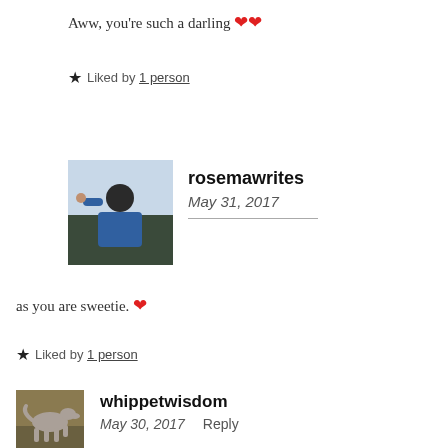Aww, you're such a darling ❤❤
★ Liked by 1 person
[Figure (photo): Profile photo of rosemawrites — person in blue shawl]
rosemawrites
May 31, 2017
as you are sweetie. ❤
★ Liked by 1 person
[Figure (photo): Profile photo of whippetwisdom — whippet dog outdoors]
whippetwisdom
May 30, 2017    Reply